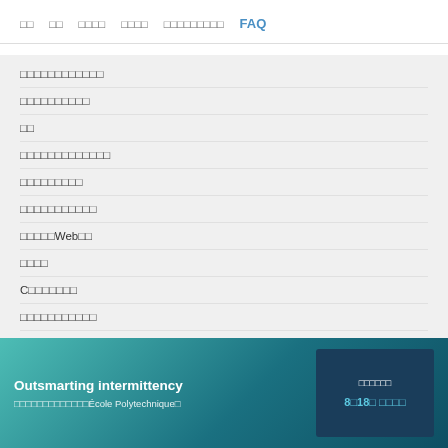□□  □□  □□□□  □□□□  □□□□□□□□□  FAQ
□□□□□□□□□□□□
□□□□□□□□□□
□□
□□□□□□□□□□□□□
□□□□□□□□□
□□□□□□□□□□□
□□□□□Web□□
□□□□
C□□□□□□□
□□□□□□□□□□□
□□□□□□□□□
[Figure (infographic): Banner promoting 'Outsmarting intermittency' event with subtitle referencing École Polytechnique, and a date box showing 8月18日 and related text]
Outsmarting intermittency
□□□□□□□□□□□□□École Polytechnique□
□□□□□□
8□18□ □□□□